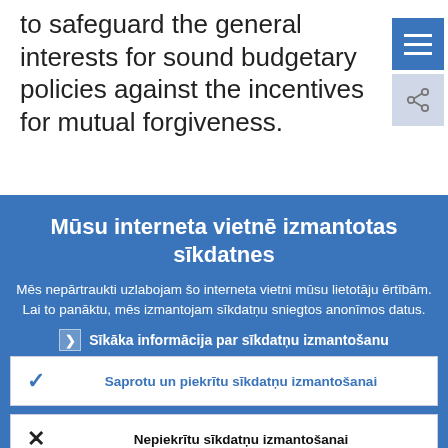to safeguard the general interests for sound budgetary policies against the incentives for mutual forgiveness.
Mūsu interneta vietnē izmantotas sīkdatnes
Mēs nepārtraukti uzlabojam šo interneta vietni mūsu lietotāju ērtībām. Lai to panāktu, mēs izmantojam sīkdatņu sniegtos anonīmos datus.
Sīkāka informācija par sīkdatņu izmantošanu
Saprotu un piekrītu sīkdatņu izmantošanai
Nepiekrītu sīkdatņu izmantošanai